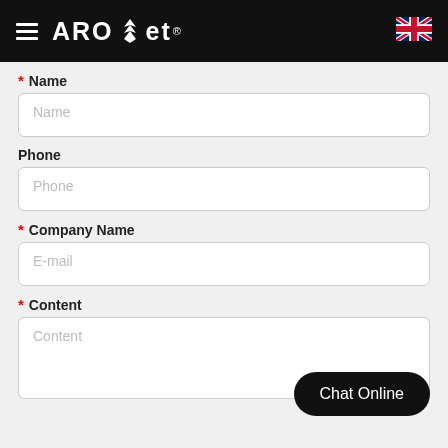ARO et® [logo with hamburger menu and UK flag]
* Name
Name (placeholder)
Phone
Phone (placeholder)
* Company Name
E-mail (placeholder)
* Content
Content (placeholder)
Chat Online